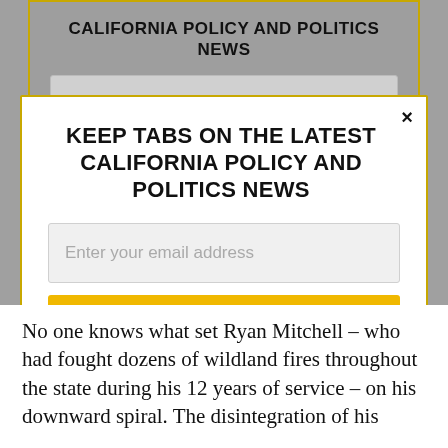CALIFORNIA POLICY AND POLITICS NEWS
KEEP TABS ON THE LATEST CALIFORNIA POLICY AND POLITICS NEWS
Enter your email address
SUBSCRIBE
By clicking subscribe, you agree to share your email address with CalMatters to receive marketing, updates, and other emails.
No one knows what set Ryan Mitchell – who had fought dozens of wildland fires throughout the state during his 12 years of service – on his downward spiral. The disintegration of his